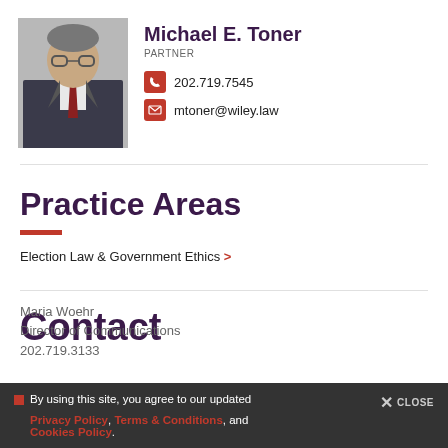[Figure (photo): Professional headshot of Michael E. Toner, a man in a dark suit with glasses]
Michael E. Toner
PARTNER
202.719.7545
mtoner@wiley.law
Practice Areas
Election Law & Government Ethics >
Contact
By using this site, you agree to our updated Privacy Policy, Terms & Conditions, and Cookies Policy.
CLOSE
Maria Woehr
Director of Communications
202.719.3133